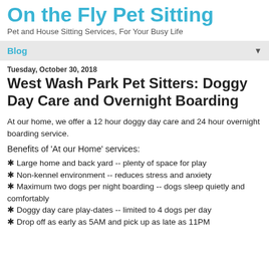On the Fly Pet Sitting
Pet and House Sitting Services, For Your Busy Life
Blog
Tuesday, October 30, 2018
West Wash Park Pet Sitters: Doggy Day Care and Overnight Boarding
At our home, we offer a 12 hour doggy day care and 24 hour overnight boarding service.
Benefits of 'At our Home' services:
✳ Large home and back yard -- plenty of space for play
✳ Non-kennel environment -- reduces stress and anxiety
✳ Maximum two dogs per night boarding -- dogs sleep quietly and comfortably
✳ Doggy day care play-dates -- limited to 4 dogs per day
✳ Drop off as early as 5AM and pick up as late as 11PM